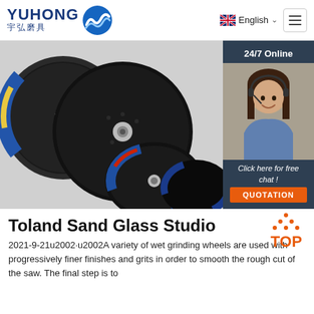YUHONG 宇弘磨具 | English
[Figure (photo): Banner showing multiple grinding/cutting discs (abrasive wheels) in black and blue, arranged overlapping, with a customer service chat panel on the right showing '24/7 Online', a photo of a woman with headset, 'Click here for free chat!' text, and an orange QUOTATION button.]
Toland Sand Glass Studio
2021-9-21u2002·u2002A variety of wet grinding wheels are used with progressively finer finishes and grits in order to smooth the rough cut of the saw. The final step is to